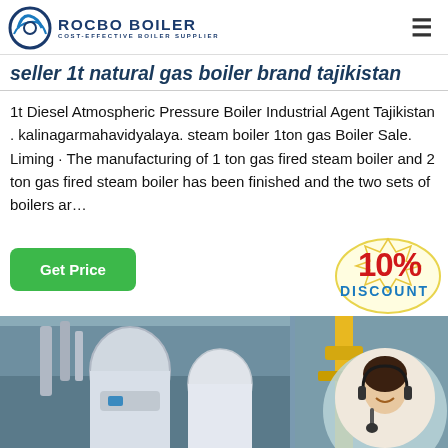ROCBO BOILER — COST-EFFECTIVE BOILER SUPPLIER
seller 1t natural gas boiler brand tajikistan
1t Diesel Atmospheric Pressure Boiler Industrial Agent Tajikistan . kalinagarmahavidyalaya. steam boiler 1ton gas Boiler Sale. Liming · The manufacturing of 1 ton gas fired steam boiler and 2 ton gas fired steam boiler has been finished and the two sets of boilers ar…
[Figure (other): Green 'Get Price' button and a 10% DISCOUNT badge graphic]
[Figure (photo): Industrial boiler equipment in a factory setting, with a customer service representative overlay and '7X24 Online' text at the bottom right]